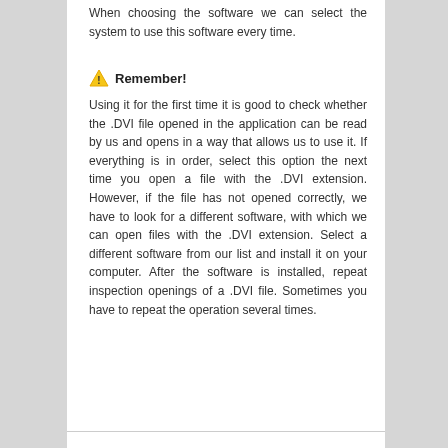When choosing the software we can select the system to use this software every time.
Remember!
Using it for the first time it is good to check whether the .DVI file opened in the application can be read by us and opens in a way that allows us to use it. If everything is in order, select this option the next time you open a file with the .DVI extension. However, if the file has not opened correctly, we have to look for a different software, with which we can open files with the .DVI extension. Select a different software from our list and install it on your computer. After the software is installed, repeat inspection openings of a .DVI file. Sometimes you have to repeat the operation several times.